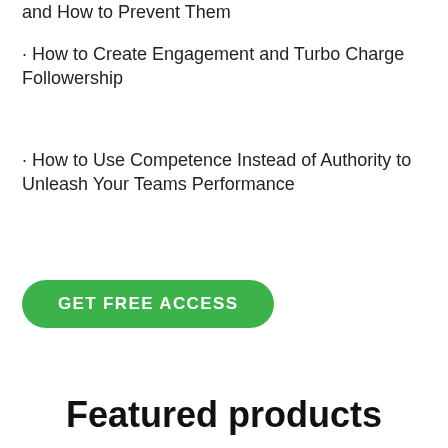and How to Prevent Them
· How to Create Engagement and Turbo Charge Followership
· How to Use Competence Instead of Authority to Unleash Your Teams Performance
GET FREE ACCESS
Featured products